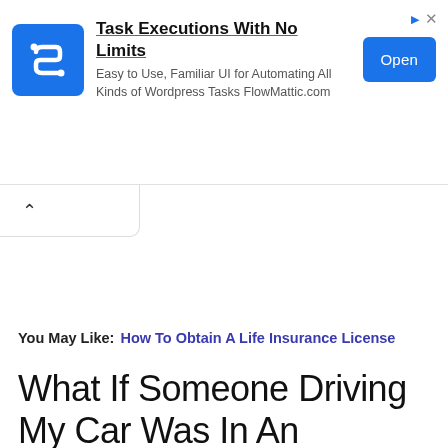[Figure (other): Advertisement banner for FlowMattic.com showing app icon, headline 'Task Executions With No Limits', subtitle text, and blue Open button]
You May Like: How To Obtain A Life Insurance License
What If Someone Driving My Car Was In An Accident That Wasnt